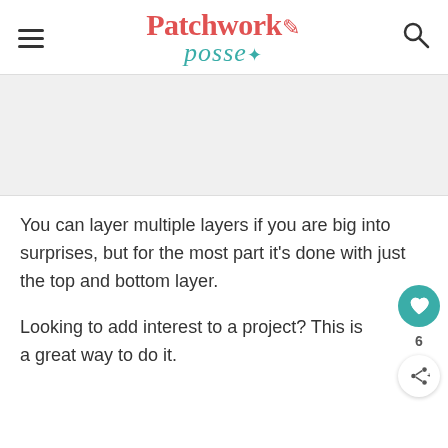Patchwork Posse
You can layer multiple layers if you are big into surprises, but for the most part it's done with just the top and bottom layer.
Looking to add interest to a project? This is a great way to do it.